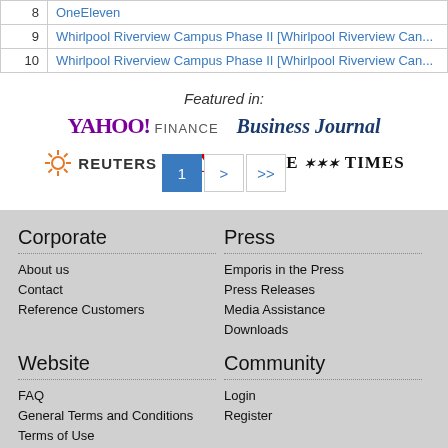| # | Name |
| --- | --- |
| 8 | OneEleven |
| 9 | Whirlpool Riverview Campus Phase II [Whirlpool Riverview Can... |
| 10 | Whirlpool Riverview Campus Phase II [Whirlpool Riverview Can... |
[Figure (logo): Featured in: Yahoo Finance, Business Journal, Reuters, CNN, The Times logos overlay]
> >>
Corporate
About us
Contact
Reference Customers
Press
Emporis in the Press
Press Releases
Media Assistance
Downloads
Website
FAQ
General Terms and Conditions
Terms of Use
Imprint
Community
Login
Register